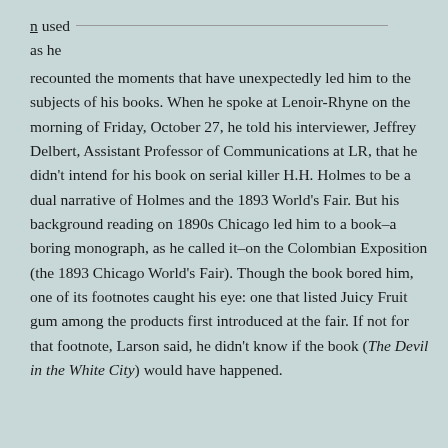n used as he recounted the moments that have unexpectedly led him to the subjects of his books. When he spoke at Lenoir-Rhyne on the morning of Friday, October 27, he told his interviewer, Jeffrey Delbert, Assistant Professor of Communications at LR, that he didn't intend for his book on serial killer H.H. Holmes to be a dual narrative of Holmes and the 1893 World's Fair. But his background reading on 1890s Chicago led him to a book–a boring monograph, as he called it–on the Colombian Exposition (the 1893 Chicago World's Fair). Though the book bored him, one of its footnotes caught his eye: one that listed Juicy Fruit gum among the products first introduced at the fair. If not for that footnote, Larson said, he didn't know if the book (The Devil in the White City) would have happened.